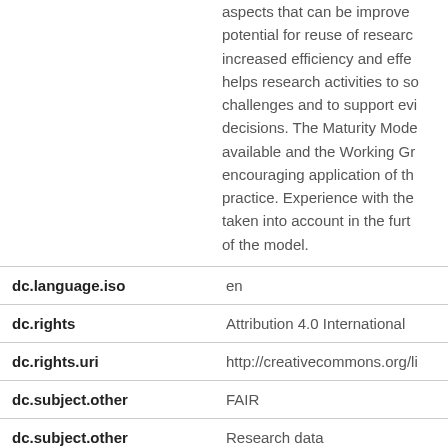aspects that can be improved, potential for reuse of research, increased efficiency and effectiveness, helps research activities to solve challenges and to support evidence-based decisions. The Maturity Model is available and the Working Group is encouraging application of the model in practice. Experience with the model will be taken into account in the further iteration of the model.
| Field | Value |
| --- | --- |
| dc.language.iso | en |
| dc.rights | Attribution 4.0 International |
| dc.rights.uri | http://creativecommons.org/li... |
| dc.subject.other | FAIR |
| dc.subject.other | Research data |
| dc.subject.other | Assessment |